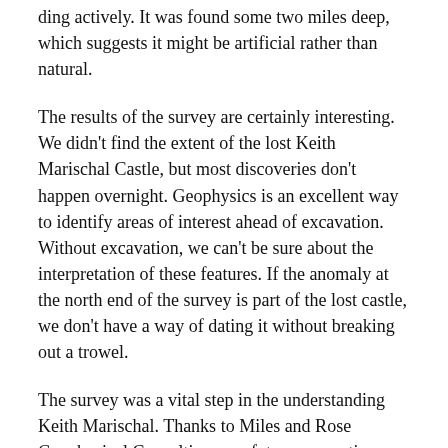ding actively. It was found some two miles deep, which suggests it might be artificial rather than natural.
The results of the survey are certainly interesting. We didn't find the extent of the lost Keith Marischal Castle, but most discoveries don't happen overnight. Geophysics is an excellent way to identify areas of interest ahead of excavation. Without excavation, we can't be sure about the interpretation of these features. If the anomaly at the north end of the survey is part of the lost castle, we don't have a way of dating it without breaking out a trowel.
The survey was a vital step in the understanding Keith Marischal. Thanks to Miles and Rose Geophysical Consulting, any future excavations will know where to look. Keith Marischal has an exciting future, and the Castle Studies Trust are proud to be able to share these developments in connection the world.